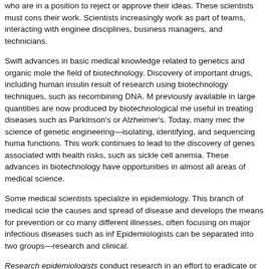who are in a position to reject or approve their ideas. These scientists must cons their work. Scientists increasingly work as part of teams, interacting with enginee disciplines, business managers, and technicians.
Swift advances in basic medical knowledge related to genetics and organic mole the field of biotechnology. Discovery of important drugs, including human insulin result of research using biotechnology techniques, such as recombining DNA. M previously available in large quantities are now produced by biotechnological me useful in treating diseases such as Parkinson's or Alzheimer's. Today, many mec the science of genetic engineering—isolating, identifying, and sequencing huma functions. This work continues to lead to the discovery of genes associated with health risks, such as sickle cell anemia. These advances in biotechnology have opportunities in almost all areas of medical science.
Some medical scientists specialize in epidemiology. This branch of medical scie the causes and spread of disease and develops the means for prevention or co many different illnesses, often focusing on major infectious diseases such as inf Epidemiologists can be separated into two groups—research and clinical.
Research epidemiologists conduct research in an effort to eradicate or control in on illnesses that affect the entire body, such as AIDS or typhus, while others focu as those of the brain, lungs, or digestive tract. Research epidemiologists work at schools of public health, medical schools, and independent research firms. For e agencies, such as the U.S. Department of Defense, may contract with a researc of malaria in certain parts of the world. Other research epidemiologists may work faculty and are counted as postsecondary teachers.